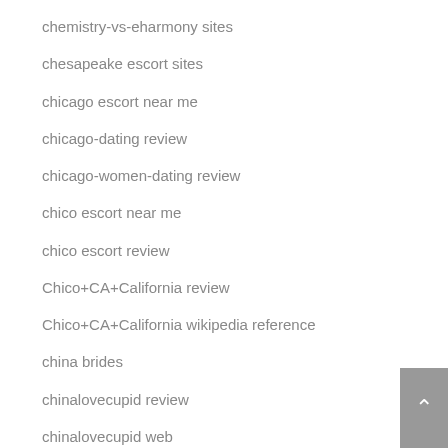chemistry-vs-eharmony sites
chesapeake escort sites
chicago escort near me
chicago-dating review
chicago-women-dating review
chico escort near me
chico escort review
Chico+CA+California review
Chico+CA+California wikipedia reference
china brides
chinalovecupid review
chinalovecupid web
Chinese Dating Sites singles
Chinese Dating Sites site
Chinese Dating Sites username